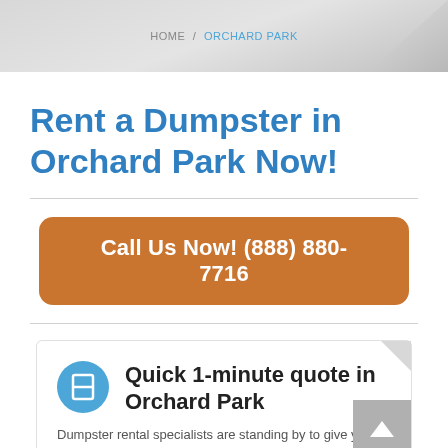HOME / ORCHARD PARK
Rent a Dumpster in Orchard Park Now!
Call Us Now! (888) 880-7716
Quick 1-minute quote in Orchard Park
Dumpster rental specialists are standing by to give you